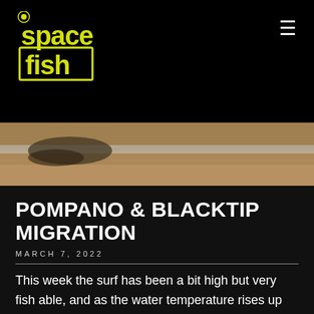space fish
[Figure (photo): Close-up photo of a fish or sea creature on sandy beach/shoreline]
POMPANO & BLACKTIP MIGRATION
MARCH 7, 2022
This week the surf has been a bit high but very fish able, and as the water temperature rises up the fishing will only heat up also. We are entering the leading edge of the pompano and blacktip migration.